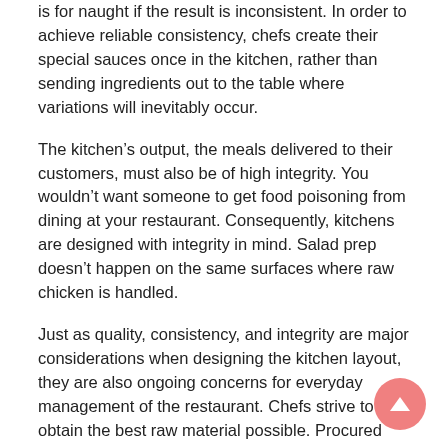is for naught if the result is inconsistent. In order to achieve reliable consistency, chefs create their special sauces once in the kitchen, rather than sending ingredients out to the table where variations will inevitably occur.
The kitchen's output, the meals delivered to their customers, must also be of high integrity. You wouldn't want someone to get food poisoning from dining at your restaurant. Consequently, kitchens are designed with integrity in mind. Salad prep doesn't happen on the same surfaces where raw chicken is handled.
Just as quality, consistency, and integrity are major considerations when designing the kitchen layout, they are also ongoing concerns for everyday management of the restaurant. Chefs strive to obtain the best raw material possible. Procured products must meet quality standards. For example, if the produce purveyor tries to unload brown, wilted lettuce or bruised tomatoes, the materials are rejected, as they don't meet minimum standards. Most fine restaurants modify their menus based on the